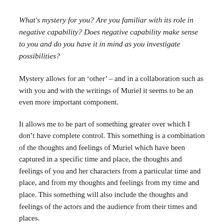What's mystery for you? Are you familiar with its role in negative capability? Does negative capability make sense to you and do you have it in mind as you investigate possibilities?
Mystery allows for an ‘other’ – and in a collaboration such as with you and with the writings of Muriel it seems to be an even more important component.
It allows me to be part of something greater over which I don’t have complete control. This something is a combination of the thoughts and feelings of Muriel which have been captured in a specific time and place, the thoughts and feelings of you and her characters from a particular time and place, and from my thoughts and feelings from my time and place. This something will also include the thoughts and feelings of the actors and the audience from their times and places.